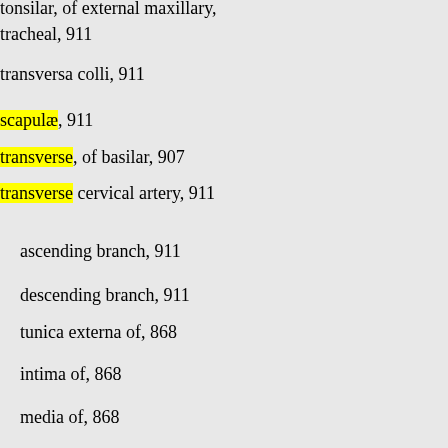tonsilar, of external maxillary, [cut off]
tracheal, 911
transversa colli, 911
scapulæ, 911
transverse, of basilar, 907
transverse cervical artery, 911
ascending branch, 911
descending branch, 911
tunica externa of, 868
intima of, 868
media of, 868
tympanic, of internal carotid, 902 [cut off]
tympanica anterior (of int. maxil [cut off]
898
inferior (of asc. phar.), 896
posterior (of stylomastoid), 895
superior (of middle meningeal), [cut off]
ulnar, 921
abnormalities of, 1056
branches, 922
common interosseous, 922